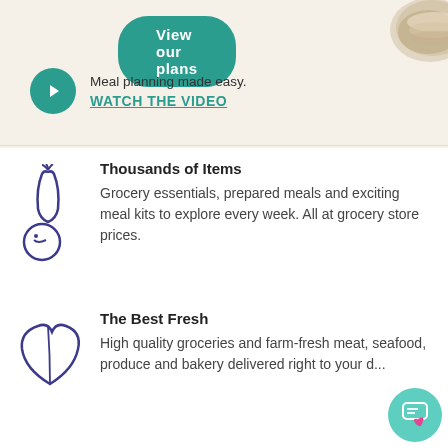[Figure (other): Teal rounded button with text 'View our plans']
[Figure (photo): Sliced bread/food on a plate, top-right corner]
[Figure (other): Teal play button circle icon]
Meal planning made easy.
WATCH THE VIDEO
Thousands of Items
[Figure (illustration): Purple outline icon of a carrot and circular vegetable]
Grocery essentials, prepared meals and exciting meal kits to explore every week. All at grocery store prices.
The Best Fresh
[Figure (illustration): Purple outline icon of a leaf]
High quality groceries and farm-fresh meat, seafood, produce and bakery delivered right to your d...
Delivered in Minutes
In your neighbourhood (and open...